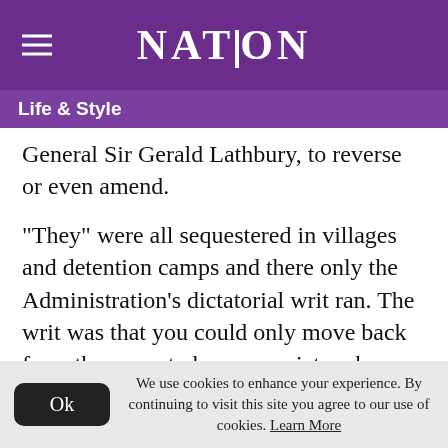NATION
Life & Style
General Sir Gerald Lathbury, to reverse or even amend.
"They" were all sequestered in villages and detention camps and there only the Administration's dictatorial writ ran. The writ was that you could only move back from the camp to human society when you had confessed to taking a Mau Mau oath, whether you had or had not and whether what you
We use cookies to enhance your experience. By continuing to visit this site you agree to our use of cookies. Learn More